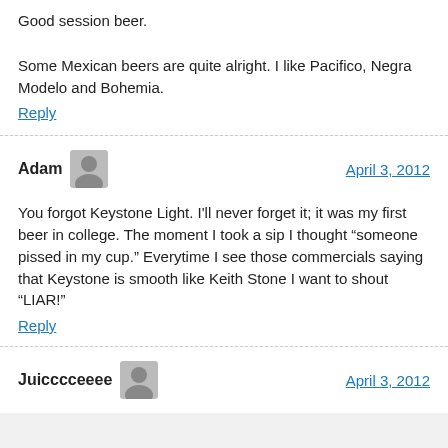Good session beer.
Some Mexican beers are quite alright. I like Pacifico, Negra Modelo and Bohemia.
Reply
Adam
April 3, 2012
You forgot Keystone Light. I'll never forget it; it was my first beer in college. The moment I took a sip I thought “someone pissed in my cup.” Everytime I see those commercials saying that Keystone is smooth like Keith Stone I want to shout “LIAR!”
Reply
Juicccceeee
April 3, 2012